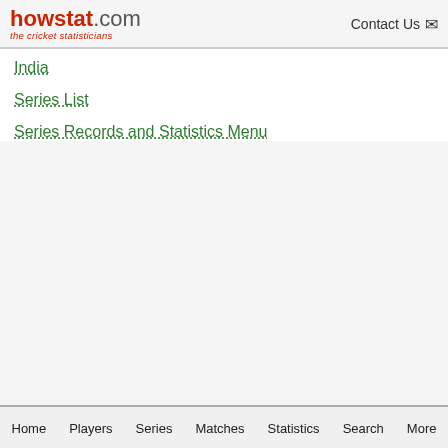howstat.com the cricket statisticians | Contact Us
India
Series List
Series Records and Statistics Menu
Home  Players  Series  Matches  Statistics  Search  More